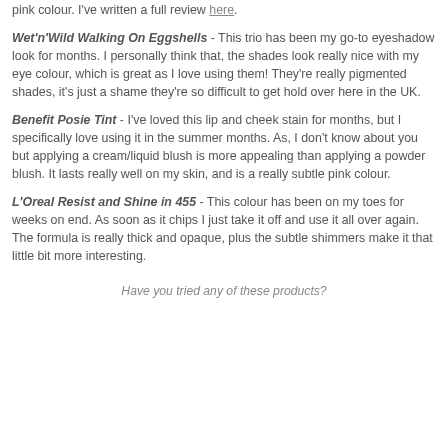pink colour. I've written a full review here.
Wet'n'Wild Walking On Eggshells - This trio has been my go-to eyeshadow look for months. I personally think that, the shades look really nice with my eye colour, which is great as I love using them! They're really pigmented shades, it's just a shame they're so difficult to get hold over here in the UK.
Benefit Posie Tint - I've loved this lip and cheek stain for months, but I specifically love using it in the summer months. As, I don't know about you but applying a cream/liquid blush is more appealing than applying a powder blush. It lasts really well on my skin, and is a really subtle pink colour.
L'Oreal Resist and Shine in 455 - This colour has been on my toes for weeks on end. As soon as it chips I just take it off and use it all over again. The formula is really thick and opaque, plus the subtle shimmers make it that little bit more interesting.
Have you tried any of these products?